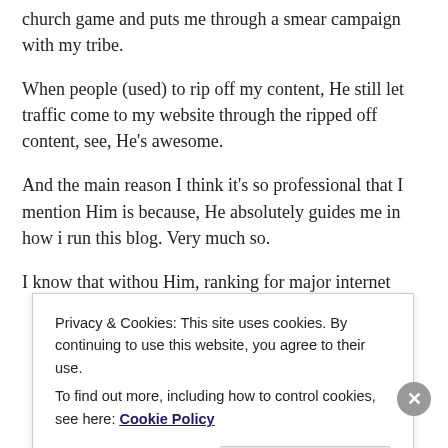church game and puts me through a smear campaign with my tribe.
When people (used) to rip off my content, He still let traffic come to my website through the ripped off content, see, He’s awesome.
And the main reason I think it’s so professional that I mention Him is because, He absolutely guides me in how i run this blog. Very much so.
I know that withou Him, ranking for major internet
Privacy & Cookies: This site uses cookies. By continuing to use this website, you agree to their use.
To find out more, including how to control cookies, see here: Cookie Policy
Close and accept